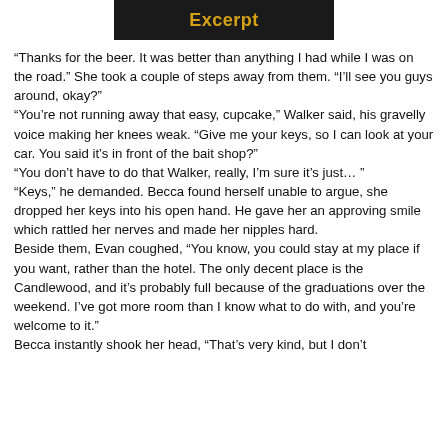[Figure (other): Dark banner image with gold text reading 'Excerpt']
“Thanks for the beer. It was better than anything I had while I was on the road.” She took a couple of steps away from them. “I’ll see you guys around, okay?”
“You’re not running away that easy, cupcake,” Walker said, his gravelly voice making her knees weak. “Give me your keys, so I can look at your car. You said it’s in front of the bait shop?”
“You don’t have to do that Walker, really, I’m sure it’s just… ”
“Keys,” he demanded. Becca found herself unable to argue, she dropped her keys into his open hand. He gave her an approving smile which rattled her nerves and made her nipples hard.
Beside them, Evan coughed, “You know, you could stay at my place if you want, rather than the hotel. The only decent place is the Candlewood, and it’s probably full because of the graduations over the weekend. I’ve got more room than I know what to do with, and you’re welcome to it.”
Becca instantly shook her head, “That’s very kind, but I don’t